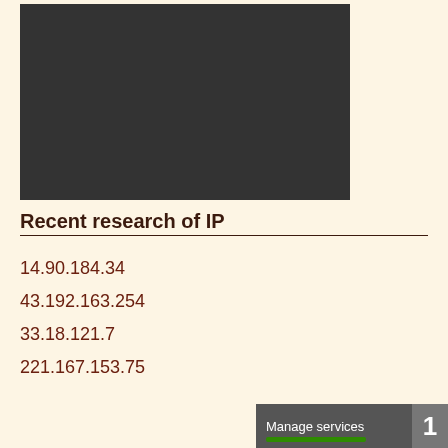[Figure (screenshot): Dark gray/charcoal rectangular box representing a screenshot or media area]
Recent research of IP
14.90.184.34
43.192.163.254
33.18.121.7
221.167.153.75
Manage services 1